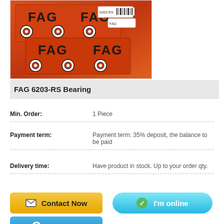[Figure (photo): FAG bearing boxes stacked, orange packaging with FAG logo and bearing icon printed on boxes]
FAG 6203-RS Bearing
Min. Order: 1 Piece
Payment term: Payment term: 35% deposit, the balance to be paid
Delivery time: Have product in stock. Up to your order qty.
[Figure (illustration): Contact Now button (yellow/orange gradient)]
[Figure (illustration): I'm online button (cyan/blue gradient, green check icon)]
[Figure (illustration): I'm online button (blue gradient, QQ penguin icon)]